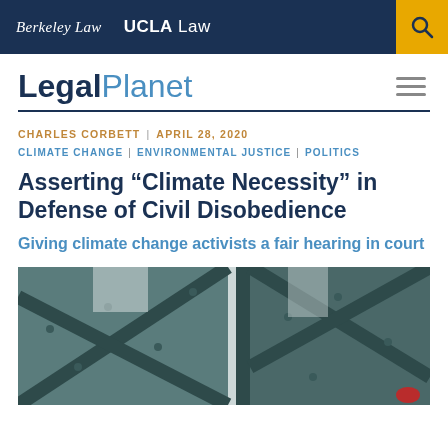Berkeley Law | UCLA Law
LegalPlanet
CHARLES CORBETT | APRIL 28, 2020
CLIMATE CHANGE | ENVIRONMENTAL JUSTICE | POLITICS
Asserting “Climate Necessity” in Defense of Civil Disobedience
Giving climate change activists a fair hearing in court
[Figure (photo): Close-up photograph of a dark green metal bridge structure with diagonal trusses, taken from below, with a grey sky and a small red object visible in the lower right.]